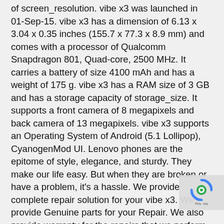of screen_resolution. vibe x3 was launched in 01-Sep-15. vibe x3 has a dimension of 6.13 x 3.04 x 0.35 inches (155.7 x 77.3 x 8.9 mm) and comes with a processor of Qualcomm Snapdragon 801, Quad-core, 2500 MHz. It carries a battery of size 4100 mAh and has a weight of 175 g. vibe x3 has a RAM size of 3 GB and has a storage capacity of storage_size. It supports a front camera of 8 megapixels and back camera of 13 megapixels. vibe x3 supports an Operating System of Android (5.1 Lollipop), CyanogenMod UI. Lenovo phones are the epitome of style, elegance, and sturdy. They make our life easy. But when they are broken or have a problem, it’s a hassle. We provide complete repair solution for your vibe x3. We provide Genuine parts for your Repair. We also provide warranty for the repairs that we perform.
You need a professional and trust worthy Lenovo service center to get the repair done. The team at HelpForSure offers genuine Lenovo parts repair and service. The skilled technicians can fix the most common problems like battery heating, screen damage, or MIC repair and also address rare problems like water damage.
Lenovo phones can become the lifeline of your daily chores personal or professional with their amazing features and us... At times, your phone may develop problems or you might h... any chance dropped it and broke the screen. In any of these
[Figure (other): reCAPTCHA / privacy badge overlay icon in bottom-right corner]